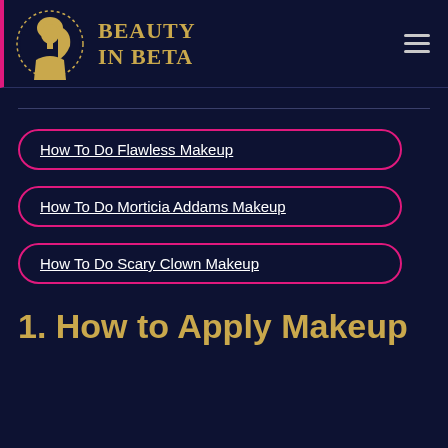[Figure (logo): Beauty In Beta website header with circular logo showing a woman silhouette and brand name in gold text, plus hamburger menu icon]
How To Do Flawless Makeup
How To Do Morticia Addams Makeup
How To Do Scary Clown Makeup
1. How to Apply Makeup